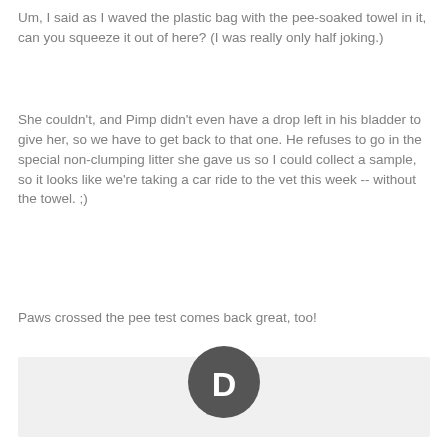Um, I said as I waved the plastic bag with the pee-soaked towel in it, can you squeeze it out of here? (I was really only half joking.)
She couldn't, and Pimp didn't even have a drop left in his bladder to give her, so we have to get back to that one. He refuses to go in the special non-clumping litter she gave us so I could collect a sample, so it looks like we're taking a car ride to the vet this week -- without the towel. ;)
Paws crossed the pee test comes back great, too!
[Figure (logo): Disqus logo — dark gray circle with speech bubble and letter D in white]